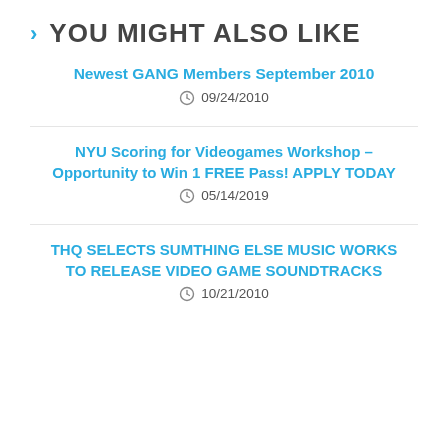› YOU MIGHT ALSO LIKE
Newest GANG Members September 2010
09/24/2010
NYU Scoring for Videogames Workshop – Opportunity to Win 1 FREE Pass! APPLY TODAY
05/14/2019
THQ SELECTS SUMTHING ELSE MUSIC WORKS TO RELEASE VIDEO GAME SOUNDTRACKS
10/21/2010